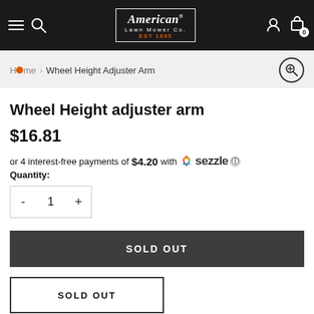American Lawn Mower Co. EST 1895
Home > Wheel Height Adjuster Arm
Wheel Height adjuster arm
$16.81
or 4 interest-free payments of $4.20 with Sezzle ⓘ
Quantity:
- 1 +
SOLD OUT
SOLD OUT